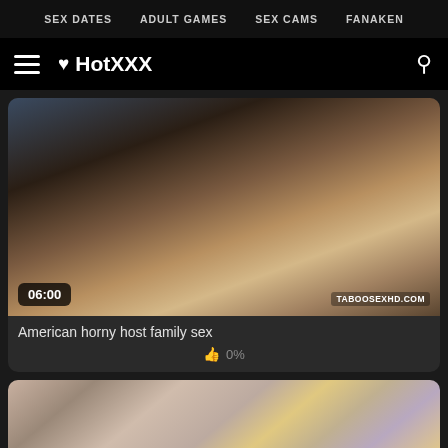SEX DATES  ADULT GAMES  SEX CAMS  FANAKEN
HotXXX
[Figure (screenshot): Video thumbnail showing three people sitting on a dark sofa, one in blue shirt, one in teal top, one blonde]
American horny host family sex
0%
[Figure (screenshot): Video thumbnail showing a group of four adults sitting together in a living room setting]